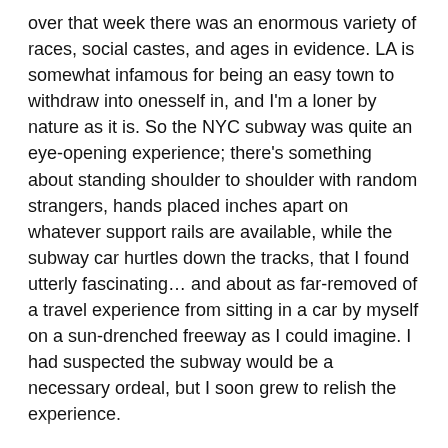over that week there was an enormous variety of races, social castes, and ages in evidence. LA is somewhat infamous for being an easy town to withdraw into onesself in, and I'm a loner by nature as it is. So the NYC subway was quite an eye-opening experience; there's something about standing shoulder to shoulder with random strangers, hands placed inches apart on whatever support rails are available, while the subway car hurtles down the tracks, that I found utterly fascinating… and about as far-removed of a travel experience from sitting in a car by myself on a sun-drenched freeway as I could imagine. I had suspected the subway would be a necessary ordeal, but I soon grew to relish the experience.
The first stop on Tuesday was WNYC, a New York public radio station where I had an afternoon appointment for a taping of the show "New Sounds," with host John Schaefer. Mr. Schaefer had been spoken of in extremely high terms whenever his name was mentioned, so I was delighted when he'd agreed to do a show with me to help publicize the Monkey gigs. WNYC is located right next to the Brooklyn Bridge, so I exited the subway terminal to